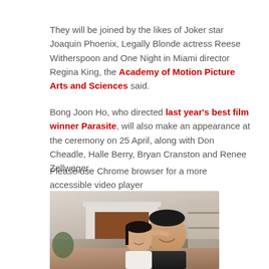They will be joined by the likes of Joker star Joaquin Phoenix, Legally Blonde actress Reese Witherspoon and One Night in Miami director Regina King, the Academy of Motion Picture Arts and Sciences said.
Bong Joon Ho, who directed last year's best film winner Parasite, will also make an appearance at the ceremony on 25 April, along with Don Cheadle, Halle Berry, Bryan Cranston and Renee Zellweger.
Please use Chrome browser for a more accessible video player
[Figure (photo): Photo of a man and a young girl smiling and hugging in a living room setting with a fireplace and shelves in the background.]